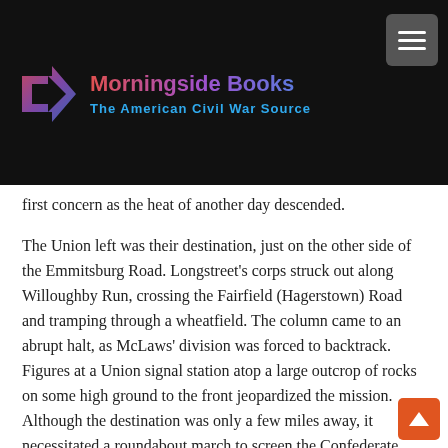Morningside Books — The American Civil War Source
first concern as the heat of another day descended.

The Union left was their destination, just on the other side of the Emmitsburg Road. Longstreet's corps struck out along Willoughby Run, crossing the Fairfield (Hagerstown) Road and tramping through a wheatfield. The column came to an abrupt halt, as McLaws' division was forced to backtrack. Figures at a Union signal station atop a large outcrop of rocks on some high ground to the front jeopardized the mission. Although the destination was only a few miles away, it necessitated a roundabout march to screen the Confederate army from Union reconnaissance